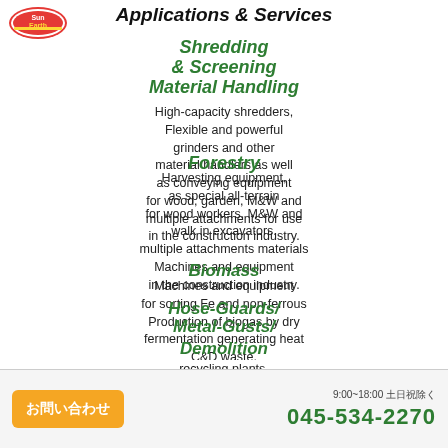[Figure (logo): Sun Earth company logo, red and yellow oval badge]
Applications & Services
Shredding & Screening
Material Handling
High-capacity shredders, Flexible and powerful grinders and other material handlers as well as conveying equipment for wood, garden, M&W and multiple attachments for use in the construction industry.
Forestry
Harvesting equipment, as special all-terrain for wood workers, M&W and walk in excavators. multiple attachments materials Machines and equipment in the construction industry.
Biomass
Machines and equipment for sorting Fe and non-ferrous Production of biogas by dry fermentation generating heat C&D waste, and electricity Design with high mixers and spreaders for efficiency. composting and agriculture.
Hose-Guards/ Metal-Gusts/
Demolition
Parts & Service
recycling plants. Wear and spare parts as well as after sales service of all our machines and equipment.
Manufacturers
9:00~18:00 土日祝除く
045-534-2270
お問い合わせ